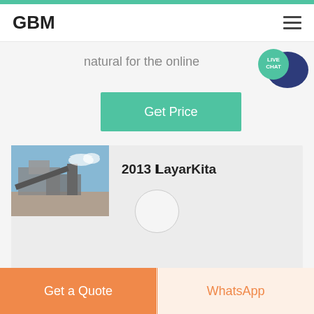GBM
natural for the online
[Figure (infographic): Live Chat speech bubble icon in teal and dark blue]
Get Price
[Figure (photo): Industrial mining/crushing machinery equipment outdoors]
2013 LayarKita
2021 8 21 Layarkita
Streaming online indoxxi merupakan situs nonton film online sub indo gratis streaming online drama korea dan film apik juragan film indo terlengkap download film box office terbaru The Sleuth of Ming
Get a Quote | WhatsApp